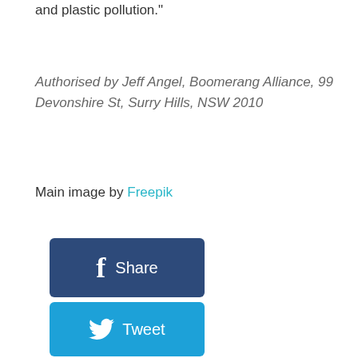and plastic pollution."
Authorised by Jeff Angel, Boomerang Alliance, 99 Devonshire St, Surry Hills, NSW 2010
Main image by Freepik
[Figure (other): Facebook Share button — dark navy blue rounded rectangle with Facebook 'f' icon and text 'Share']
[Figure (other): Twitter Tweet button — light blue rounded rectangle with Twitter bird icon and text 'Tweet']